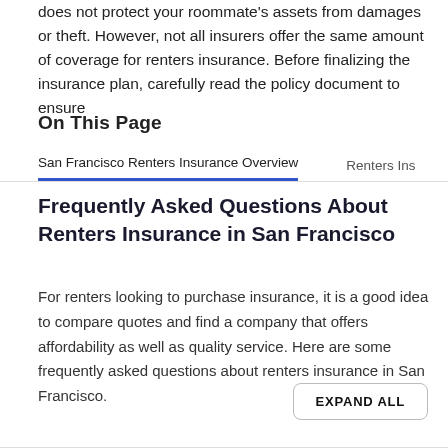does not protect your roommate's assets from damages or theft. However, not all insurers offer the same amount of coverage for renters insurance. Before finalizing the insurance plan, carefully read the policy document to ensure
On This Page
San Francisco Renters Insurance Overview    Renters Ins
Frequently Asked Questions About Renters Insurance in San Francisco
For renters looking to purchase insurance, it is a good idea to compare quotes and find a company that offers affordability as well as quality service. Here are some frequently asked questions about renters insurance in San Francisco.
EXPAND ALL